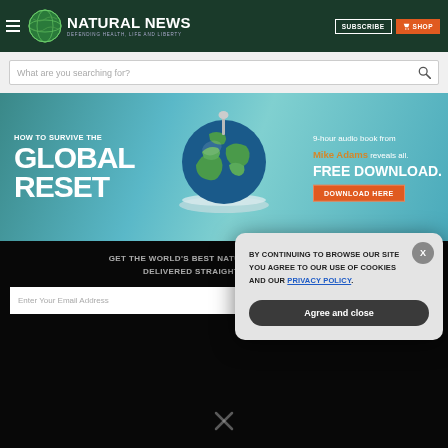NATURAL NEWS — DEFENDING HEALTH, LIFE AND LIBERTY
What are you searching for?
[Figure (infographic): HOW TO SURVIVE THE GLOBAL RESET — 9-hour audio book from Mike Adams reveals all. FREE DOWNLOAD. DOWNLOAD HERE button. Banner with globe image on teal background.]
GET THE WORLD'S BEST NATURAL HEALTH NEWSLETTER DELIVERED STRAIGHT TO YOUR INBOX
Enter Your Email Address
BY CONTINUING TO BROWSE OUR SITE YOU AGREE TO OUR USE OF COOKIES AND OUR PRIVACY POLICY. Agree and close
SUBSCRIBE